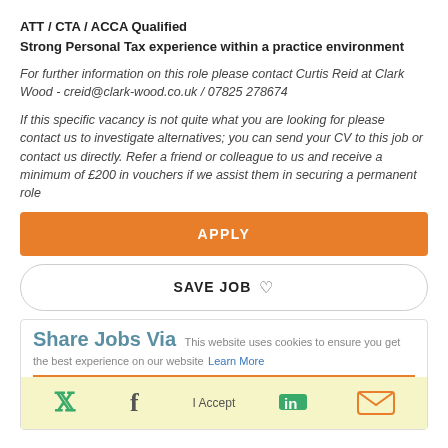ATT / CTA / ACCA Qualified
Strong Personal Tax experience within a practice environment
For further information on this role please contact Curtis Reid at Clark Wood - creid@clark-wood.co.uk / 07825 278674
If this specific vacancy is not quite what you are looking for please contact us to investigate alternatives; you can send your CV to this job or contact us directly. Refer a friend or colleague to us and receive a minimum of £200 in vouchers if we assist them in securing a permanent role
APPLY
SAVE JOB ♡
Share Jobs Via
This website uses cookies to ensure you get the best experience on our website Learn More
I Accept